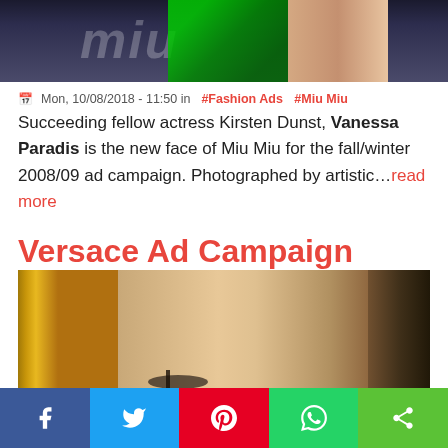[Figure (photo): Partial view of a fashion shoot image cropped at the top — dark background with green patterned garment and a person's leg visible]
Mon, 10/08/2018 - 11:50 in #Fashion Ads #Miu Miu
Succeeding fellow actress Kirsten Dunst, Vanessa Paradis is the new face of Miu Miu for the fall/winter 2008/09 ad campaign. Photographed by artistic…read more
Versace Ad Campaign
[Figure (photo): Close-up photo of a model's legs in high heels against a gold/dark background, part of a Versace ad campaign]
[Figure (other): Social sharing bar with Facebook, Twitter, Pinterest, WhatsApp, and share buttons]